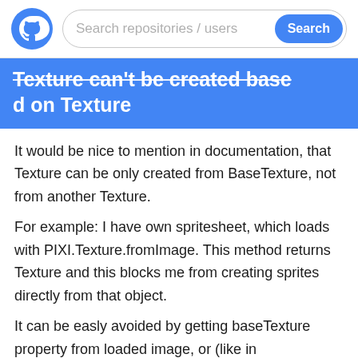Search repositories / users  Search
Texture can't be created based on Texture
It would be nice to mention in documentation, that Texture can be only created from BaseTexture, not from another Texture.
For example: I have own spritesheet, which loads with PIXI.Texture.fromImage. This method returns Texture and this blocks me from creating sprites directly from that object.
It can be easly avoided by getting baseTexture property from loaded image, or (like in SpriteSheetLoader.js:84) by additing listeners